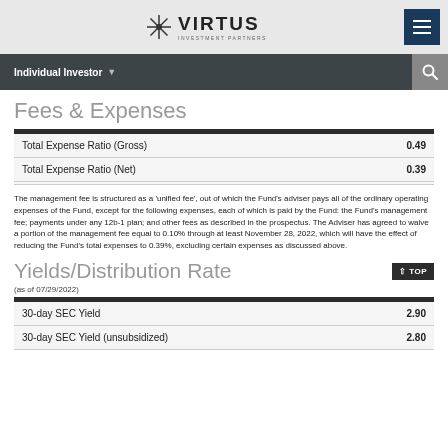VIRTUS INVESTMENT PARTNERS
Fees & Expenses
|  |  |
| --- | --- |
| Total Expense Ratio (Gross) | 0.49 |
| Total Expense Ratio (Net) | 0.39 |
The management fee is structured as a 'unified fee', out of which the Fund's adviser pays all of the ordinary operating expenses of the Fund, except for the following expenses, each of which is paid by the Fund: the Fund's management fee; payments under any 12b-1 plan; and other fees as described in the prospectus. The Adviser has agreed to waive a portion of the management fee equal to 0.10% through at least November 28, 2022, which will have the effect of reducing the Fund's total expenses to 0.39%, excluding certain expenses as discussed above.
Yields/Distribution Rate
(as of 07/29/2022)
|  |  |
| --- | --- |
| 30-day SEC Yield | 2.90 |
| 30-day SEC Yield (unsubsidized) | 2.80 |